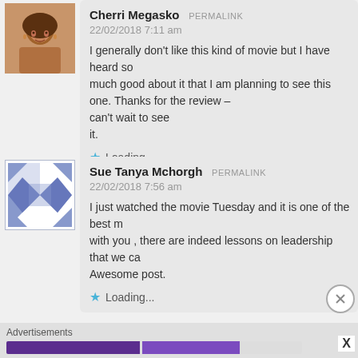[Figure (photo): Avatar photo of Cherri Megasko, a woman with brown hair]
Cherri Megasko PERMALINK
22/02/2018 7:11 am
I generally don't like this kind of movie but I have heard so much good about it that I am planning to see this one. Thanks for the review - can't wait to see it.
Loading...
[Figure (illustration): Avatar pattern image for Sue Tanya Mchorgh - blue/white geometric pinwheel pattern]
Sue Tanya Mchorgh PERMALINK
22/02/2018 7:56 am
I just watched the movie Tuesday and it is one of the best m... with you , there are indeed lessons on leadership that we ca... Awesome post.
Loading...
Advertisements